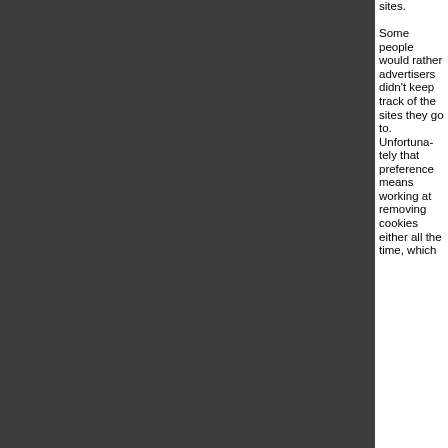sites. Some people would rather advertisers didn't keep track of the sites they go to. Unfortunately that preference means working at removing cookies either all the time, which